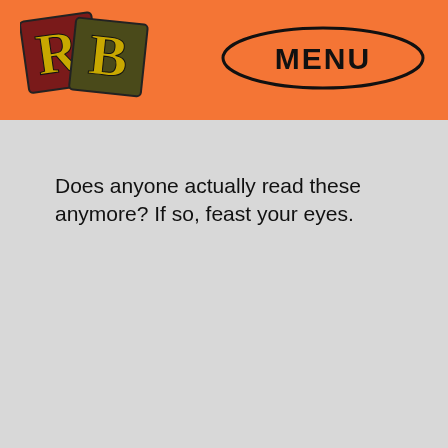[Figure (logo): RB logo — two overlapping colored letter tiles: a dark red/maroon 'R' tile and a dark olive/gold 'B' tile with black outlines]
[Figure (logo): Oval button outline with the word MENU in bold serif letters inside]
Does anyone actually read these anymore? If so, feast your eyes.